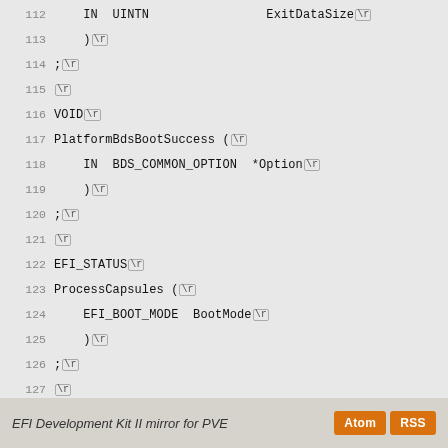Code listing lines 112-140 showing EFI/BDS platform header file declarations
EFI Development Kit II mirror for PVE  [Atom] [RSS]